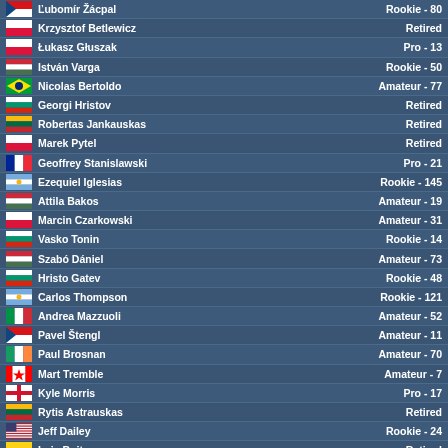| Flag | Name | Status |
| --- | --- | --- |
| CZ | Ľubomír Žácpal | Rookie - 80 |
| PL | Krzysztof Betlewicz | Retired |
| PL | Łukasz Głuszak | Pro - 13 |
| HU | István Varga | Rookie - 50 |
| BR | Nicolas Bertoldo | Amateur - 77 |
| BG | Georgi Hristov | Retired |
| LT | Robertas Jankauskas | Retired |
| PL | Marek Pytel | Retired |
| FR | Geoffrey Stanislawski | Pro - 21 |
| AR | Ezequiel Iglesias | Rookie - 145 |
| HU | Attila Bakos | Amateur - 19 |
| PL | Marcin Czarkowski | Amateur - 31 |
| BG | Vasko Tonin | Rookie - 14 |
| HU | Szabó Dániel | Amateur - 73 |
| BG | Hristo Gatev | Rookie - 48 |
| AR | Carlos Thompson | Rookie - 121 |
| IT | Andrea Mazzuoli | Amateur - 52 |
| CZ | Pavel Štengl | Amateur - 11 |
| IE | Paul Brosnan | Amateur - 70 |
| CA | Mart Tremble | Amateur - 7 |
| GB-ENG | Kyle Morris | Pro - 17 |
| LT | Rytis Astrauskas | Retired |
| US | Jeff Dailey | Rookie - 24 |
| CO | Luis Buitrago | Retired |